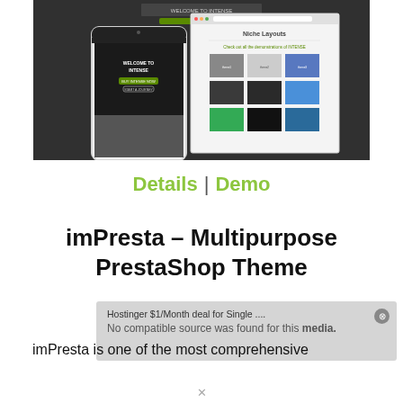[Figure (screenshot): Screenshot of a website/theme mockup showing mobile and desktop views of 'Welcome to Intense' with 'Niche Layouts' panel]
Details | Demo
imPresta – Multipurpose PrestaShop Theme
[Figure (screenshot): Overlay notification bar showing 'Hostinger $1/Month deal for Single....' and 'No compatible source was found for this media.' with close button]
imPresta is one of the most comprehensive